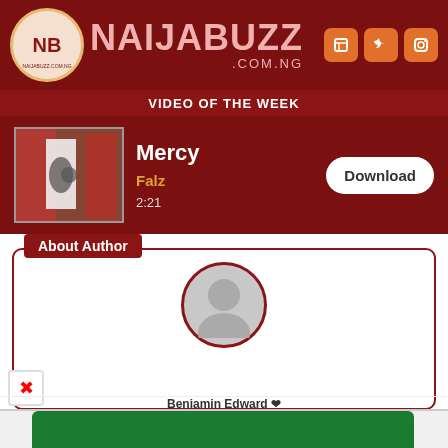NAIJABUZZ .COM.NG
VIDEO OF THE WEEK
Mercy
Falz
2:21
About Author
[Figure (screenshot): Advertisement for selling BTC & Gift Cards - Sell BTC & Gift Cards In Good Rate, 35000₦ to 40000₦, with Google Play store link and various gift card logos]